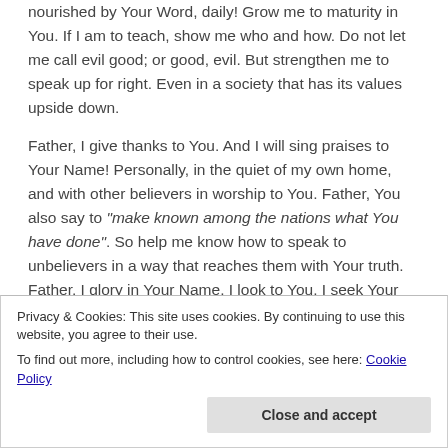nourished by Your Word, daily! Grow me to maturity in You. If I am to teach, show me who and how. Do not let me call evil good; or good, evil. But strengthen me to speak up for right. Even in a society that has its values upside down.
Father, I give thanks to You. And I will sing praises to Your Name! Personally, in the quiet of my own home, and with other believers in worship to You. Father, You also say to "make known among the nations what You have done". So help me know how to speak to unbelievers in a way that reaches them with Your truth. Father, I glory in Your Name. I look to You. I seek Your face. Your strength. Your blessing.
Privacy & Cookies: This site uses cookies. By continuing to use this website, you agree to their use. To find out more, including how to control cookies, see here: Cookie Policy